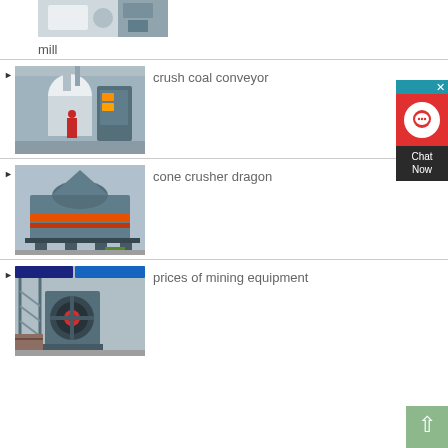[Figure (photo): Industrial mill equipment, partial view at top of page]
mill
[Figure (photo): Industrial crushing machine in a factory hall - crush coal conveyor]
crush coal conveyor
[Figure (photo): Grey cone crusher machine on platform - cone crusher dragon]
cone crusher dragon
[Figure (photo): Mining jaw crusher equipment - prices of mining equipment]
prices of mining equipment